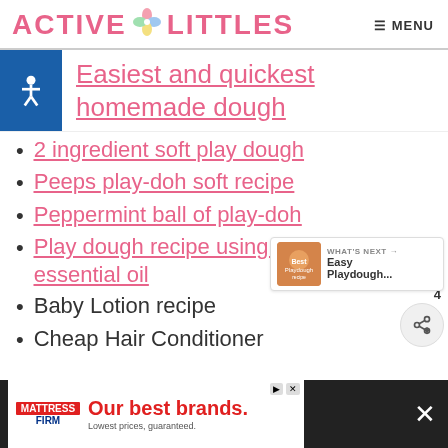ACTIVE LITTLES  MENU
Easiest and quickest homemade dough
2 ingredient soft play dough
Peeps play-doh soft recipe
Peppermint ball of play-doh
Play dough recipe using drops of essential oil
Baby Lotion recipe
Cheap Hair Conditioner
[Figure (other): Advertisement banner: Mattress Firm - Our best brands. Lowest prices, guaranteed.]